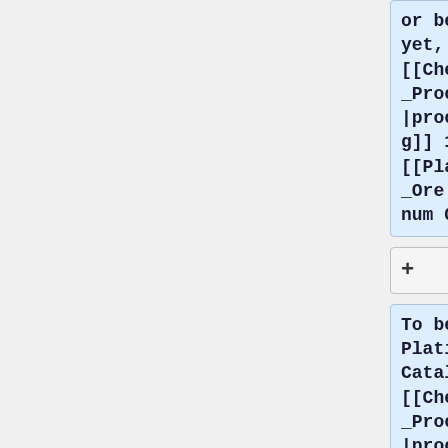or better yet, [[Chemical_Processor|processing]] 16 [[Platinum_Ore|Platinum Ores]].
+
To begin, use Platinum Catalysts to [[Chemical_Processor|process]] the salt